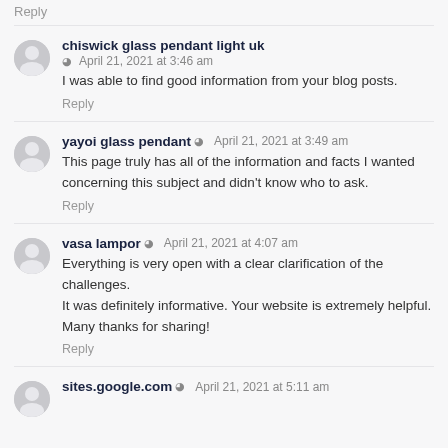Reply
chiswick glass pendant light uk
April 21, 2021 at 3:46 am
I was able to find good information from your blog posts.
Reply
yayoi glass pendant
April 21, 2021 at 3:49 am
This page truly has all of the information and facts I wanted concerning this subject and didn't know who to ask.
Reply
vasa lampor
April 21, 2021 at 4:07 am
Everything is very open with a clear clarification of the challenges.
It was definitely informative. Your website is extremely helpful.
Many thanks for sharing!
Reply
sites.google.com
April 21, 2021 at 5:11 am